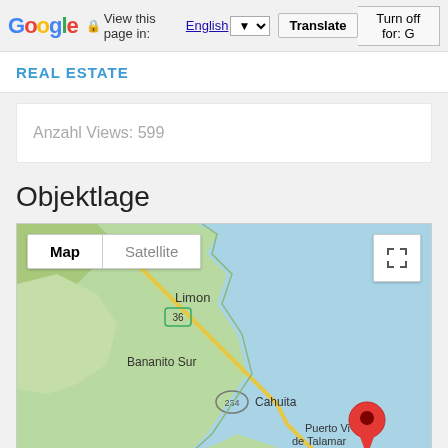Google   View this page in: English [▼]   Translate   Turn off for: G
REAL ESTATE
Anzahl Views: 599
Objektlage
[Figure (map): Google Maps view showing the Caribbean coast of Costa Rica near Puerto Viejo de Talamanca. Visible locations include Limon (with route 36 marker), Bananito Sur, Cahuita (with route 234 marker), and Puerto Viejo de Talamanca (with route 36 marker). A red map pin marker is placed near Puerto Viejo de Talamanca on the Caribbean coastline. The map shows green land areas and blue ocean to the right.]